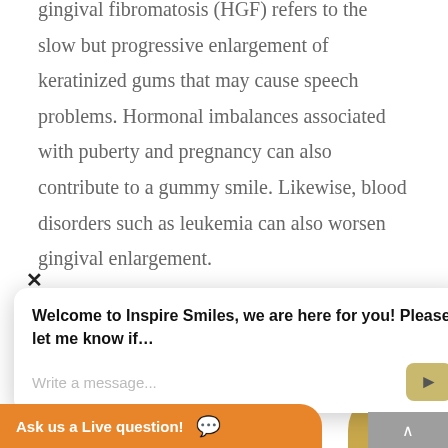gingival fibromatosis (HGF) refers to the slow but progressive enlargement of keratinized gums that may cause speech problems. Hormonal imbalances associated with puberty and pregnancy can also contribute to a gummy smile. Likewise, blood disorders such as leukemia can also worsen gingival enlargement.
[Figure (screenshot): Chat widget overlay showing 'Welcome to Inspire Smiles, we are here for you! Please let me know if...' with a message input field and send button, plus a close (X) button. An orange 'Ask us a Live question!' bar at the bottom with a chat bubble icon. A gold/tan decorative scroll widget on the right side.]
Altered Passive Eruption (APE) occurs when
gums and c... from the doctor.
teeth don't fully protrude into the mouth
covered,